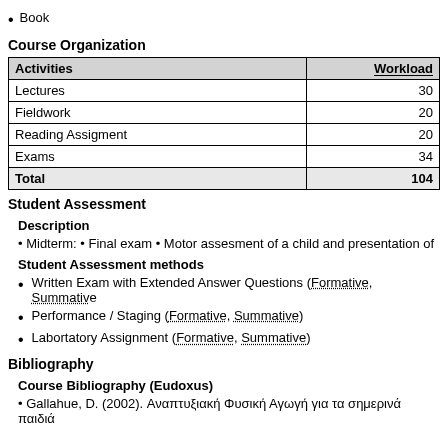Book
Course Organization
| Activities | Workload |
| --- | --- |
| Lectures | 30 |
| Fieldwork | 20 |
| Reading Assigment | 20 |
| Exams | 34 |
| Total | 104 |
Student Assessment
Description
• Midterm: • Final exam • Motor assesment of a child and presentation of
Student Assessment methods
Written Exam with Extended Answer Questions (Formative, Summative)
Performance / Staging (Formative, Summative)
Labortatory Assignment (Formative, Summative)
Bibliography
Course Bibliography (Eudoxus)
• Gallahue, D. (2002). Αναπτυξιακή Φυσική Αγωγή για τα σημερινά παιδιά